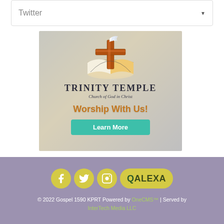Twitter
[Figure (illustration): Trinity Temple Church of God in Christ advertisement with cross/dove logo, text 'TRINITY TEMPLE Church of God in Christ', 'Worship With Us!', and a teal 'Learn More' button, against a blurred congregation background.]
[Figure (logo): Social media icons: Facebook, Twitter, Instagram (yellow circles), and QALEXA yellow pill logo in footer area.]
© 2022 Gospel 1590 KPRT Powered by OneCMS™ | Served by InterTech Media LLC